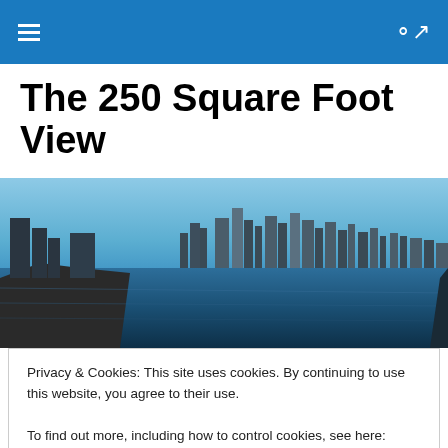Navigation bar with hamburger menu and search icon
The 250 Square Foot View
[Figure (photo): Panoramic cityscape photo showing a skyline across water (likely New York City from across the Hudson or East River), with a clear blue sky and waterfront in the foreground.]
TAGGED WITH POUGHKEEPSIE JOURNAL
Privacy & Cookies: This site uses cookies. By continuing to use this website, you agree to their use.
To find out more, including how to control cookies, see here: Cookie Policy
[Close and accept button]
The below recollections share a common theme: missed